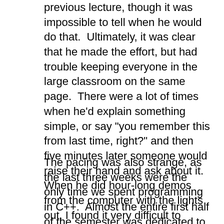previous lecture, though it was impossible to tell when he would do that.  Ultimately, it was clear that he made the effort, but had trouble keeping everyone in the large classroom on the same page.  There were a lot of times when he'd explain something simple, or say "you remember this from last time, right?" and then five minutes later someone would raise their hand and ask about it.  When he did hour-long demos from the computer with the lights out, I found it very difficult to focus.  I'd always try to follow along with him, inevitably miss one step and therefore be lost for the rest of the demo.
The pacing was also strange, as the last three weeks were the only time we spent programming in C++.  Almost the entire first half of the semester was dedicated to the C language, and the remaining time was spent on systems programming in C.  I understand that the training in C might be important